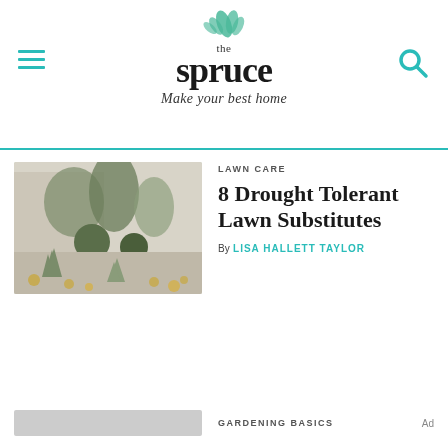the spruce — Make your best home
LAWN CARE
8 Drought Tolerant Lawn Substitutes
By LISA HALLETT TAYLOR
[Figure (photo): Drought tolerant landscape with gravel, agave plants, round shrubs, and trees along a wall]
GARDENING BASICS